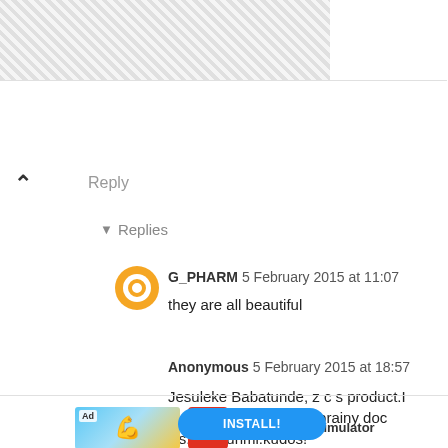[Figure (illustration): Checkered/cross-hatch banner pattern at top of page]
Reply
▾ Replies
G_PHARM 5 February 2015 at 11:07
they are all beautiful
Anonymous 5 February 2015 at 18:57
Jesuleke Babatunde, z c s product.I remember her equally brainy doc sis:jesubunmi.kudos!
[Figure (infographic): Advertisement for BitLife - Life Simulator app showing ad banner and app icon with INSTALL button]